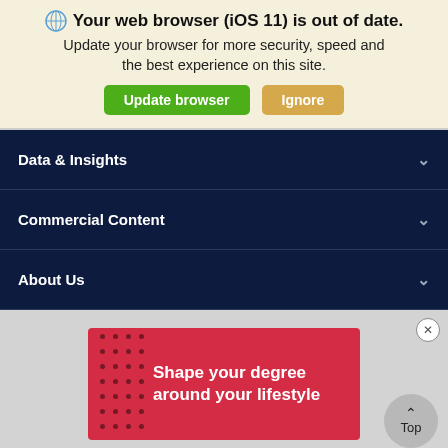🌐 Your web browser (iOS 11) is out of date. Update your browser for more security, speed and the best experience on this site.
Update browser
Ignore
Data & Insights
Commercial Content
About Us
[Figure (screenshot): Red advertisement banner with dot pattern on left reading 'Shape your degree around your lifestyle' in white bold text]
Shape your degree around your lifestyle